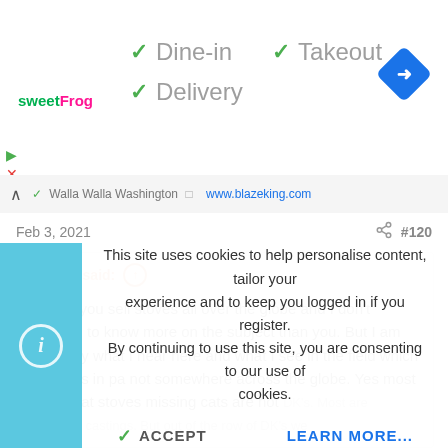[Figure (screenshot): Top banner ad for sweetFrog with green checkmarks for Dine-in, Takeout, Delivery options and a blue navigation diamond icon]
Walla Walla Washington   www.blazeking.com
Feb 3, 2021   #120
bholler said:
I know you sell stoves all over the globe and I don't pretend to know more on the subject than you. But I am going by what I hear here and what I see in the field which the op is in pa not somewhere across the globe. Yes most of the cat stoves missing cats are not DK's. Most are incorrect castings. But out of the row of DK's we...
This site uses cookies to help personalise content, tailor your experience and to keep you logged in if you register.
By continuing to use this site, you are consenting to our use of cookies.
ACCEPT   LEARN MORE...